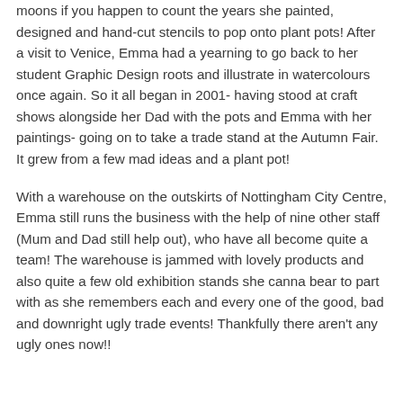moons if you happen to count the years she painted, designed and hand-cut stencils to pop onto plant pots! After a visit to Venice, Emma had a yearning to go back to her student Graphic Design roots and illustrate in watercolours once again. So it all began in 2001- having stood at craft shows alongside her Dad with the pots and Emma with her paintings- going on to take a trade stand at the Autumn Fair. It grew from a few mad ideas and a plant pot!
With a warehouse on the outskirts of Nottingham City Centre, Emma still runs the business with the help of nine other staff (Mum and Dad still help out), who have all become quite a team! The warehouse is jammed with lovely products and also quite a few old exhibition stands she canna bear to part with as she remembers each and every one of the good, bad and downright ugly trade events! Thankfully there aren't any ugly ones now!!